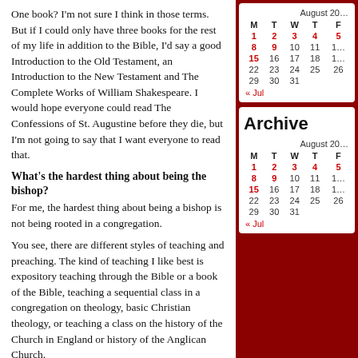One book? I'm not sure I think in those terms. But if I could only have three books for the rest of my life in addition to the Bible, I'd say a good Introduction to the Old Testament, an Introduction to the New Testament and The Complete Works of William Shakespeare. I would hope everyone could read The Confessions of St. Augustine before they die, but I'm not going to say that I want everyone to read that.
What's the hardest thing about being the bishop?
For me, the hardest thing about being a bishop is not being rooted in a congregation.
You see, there are different styles of teaching and preaching. The kind of teaching I like best is expository teaching through the Bible or a book of the Bible, teaching a sequential class in a congregation on theology, basic Christian theology, or teaching a class on the history of the Church in England or history of the Anglican Church.
Read it all.
[Figure (screenshot): Tweet card: Anglican Diocese of SC @anglican_sc Follow — with Twitter bird icon and circular avatar logo]
| M | T | W | T | F |
| --- | --- | --- | --- | --- |
| 1 | 2 | 3 | 4 | 5 |
| 8 | 9 | 10 | 11 | 1 |
| 15 | 16 | 17 | 18 | 1 |
| 22 | 23 | 24 | 25 | 26 |
| 29 | 30 | 31 |  |  |
« Jul
Archive
| M | T | W | T | F |
| --- | --- | --- | --- | --- |
| 1 | 2 | 3 | 4 | 5 |
| 8 | 9 | 10 | 11 | 1 |
| 15 | 16 | 17 | 18 | 1 |
| 22 | 23 | 24 | 25 | 26 |
| 29 | 30 | 31 |  |  |
« Jul